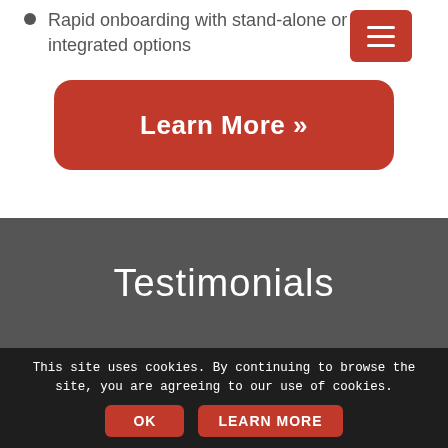Rapid onboarding with stand-alone or FMS integrated options
[Figure (other): Red hamburger menu button with three white lines]
[Figure (other): Red rounded 'Learn More »' button]
Testimonials
This site uses cookies. By continuing to browse the site, you are agreeing to our use of cookies.
The AVIx App combined with a totally connected fleet is the future of mobility and the success of our 50,000-unit deal… relationship with PowerFleet to utilize the PowerFleet
[Figure (other): OK and LEARN MORE cookie consent buttons]